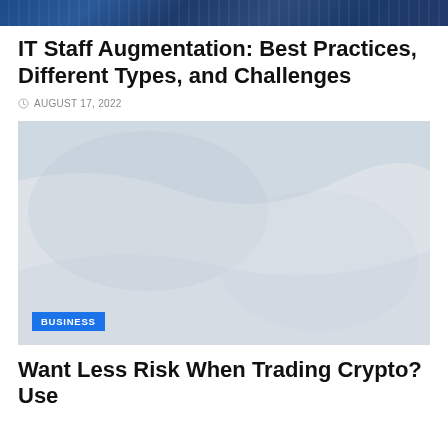[Figure (photo): Dark blue/navy background image at top of page, appears to be a technology or cityscape themed banner image]
IT Staff Augmentation: Best Practices, Different Types, and Challenges
AUGUST 17, 2022
[Figure (photo): Light gray/white image with subtle texture, appears washed out or faded. Has a blue BUSINESS category badge overlaid in bottom left corner.]
Want Less Risk When Trading Crypto? Use